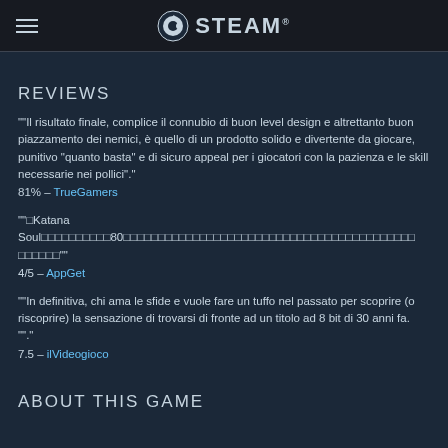STEAM
REVIEWS
""Il risultato finale, complice il connubio di buon level design e altrettanto buon piazzamento dei nemici, è quello di un prodotto solido e divertente da giocare, punitivo “quanto basta” e di sicuro appeal per i giocatori con la pazienza e le skill necessarie nei pollici"."
81% – TrueGamers
""□Katana Soul□□□□□□□□□□80□□□□□□□□□□□□□□□□□□□□□□□□□□□□□□□□□□□□□□□□□□"
4/5 – AppGet
""In definitiva, chi ama le sfide e vuole fare un tuffo nel passato per scoprire (o riscoprire) la sensazione di trovarsi di fronte ad un titolo ad 8 bit di 30 anni fa. "."
7.5 – ilVideogioco
ABOUT THIS GAME